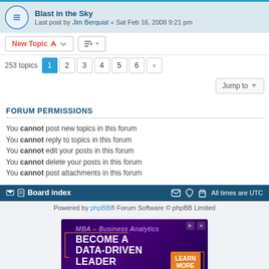Blast in the Sky — Last post by Jim Berquist « Sat Feb 16, 2008 9:21 pm
New Topic | Sort | 253 topics | pages 1 2 3 4 5 6 >
Jump to
FORUM PERMISSIONS
You cannot post new topics in this forum
You cannot reply to topics in this forum
You cannot edit your posts in this forum
You cannot delete your posts in this forum
You cannot post attachments in this forum
Board index | All times are UTC
Powered by phpBB® Forum Software © phpBB Limited
[Figure (illustration): Advertisement banner for High Point University MBA Business Analytics program: BECOME A DATA-DRIVEN LEADER with LEARN MORE button]